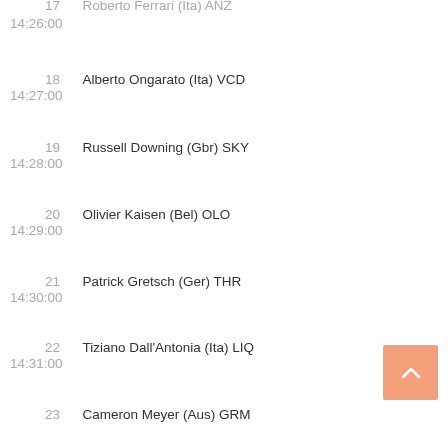17  Roberto Ferrari (Ita) ANZ  14:26:00
18  Alberto Ongarato (Ita) VCD  14:27:00
19  Russell Downing (Gbr) SKY  14:28:00
20  Olivier Kaisen (Bel) OLO  14:29:00
21  Patrick Gretsch (Ger) THR  14:30:00
22  Tiziano Dall'Antonia (Ita) LIQ  14:31:00
23  Cameron Meyer (Aus) GRM  14:32:00
24  Matteo Tosatto (Ita) SBS  14:33:00
25  Miguel Minguez Ayala (Esp) EUS  14:34:00
26  Francesco Reda (Ita) OST